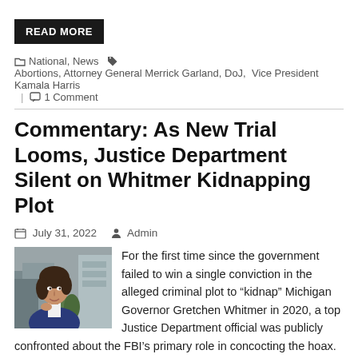READ MORE
National, News   Abortions, Attorney General Merrick Garland, DoJ, Vice President Kamala Harris   1 Comment
Commentary: As New Trial Looms, Justice Department Silent on Whitmer Kidnapping Plot
July 31, 2022   Admin
[Figure (photo): Portrait photo of Gretchen Whitmer, Michigan Governor]
For the first time since the government failed to win a single conviction in the alleged criminal plot to “kidnap” Michigan Governor Gretchen Whitmer in 2020, a top Justice Department official was publicly confronted about the FBI’s primary role in concocting the hoax.
It was not a welcome line of inquiry, to say the least.
READ MORE